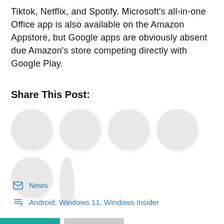Tiktok, Netflix, and Spotify. Microsoft's all-in-one Office app is also available on the Amazon Appstore, but Google apps are obviously absent due Amazon's store competing directly with Google Play.
Share This Post:
[Figure (other): Six social sharing icon circles arranged in two rows (placeholder grey circles)]
News
Android, Windows 11, Windows Insider